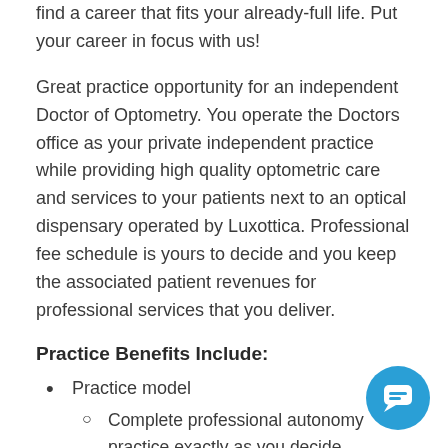find a career that fits your already-full life. Put your career in focus with us!
Great practice opportunity for an independent Doctor of Optometry. You operate the Doctors office as your private independent practice while providing high quality optometric care and services to your patients next to an optical dispensary operated by Luxottica. Professional fee schedule is yours to decide and you keep the associated patient revenues for professional services that you deliver.
Practice Benefits Include:
Practice model
Complete professional autonomy practice exactly as you decide